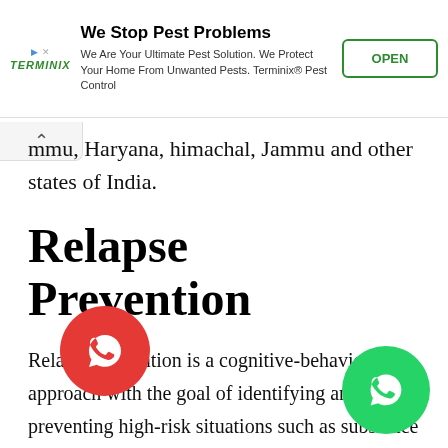[Figure (screenshot): Terminix advertisement banner: 'We Stop Pest Problems' with logo, tagline, and OPEN button]
mmu, Haryana, himachal, Jammu and other states of India.
Relapse Prevention
Relapse prevention is a cognitive-behavioral approach with the goal of identifying and preventing high-risk situations such as substance abuse, obsessive-compulsive behavior, sexual offending, obesity, depression etc.Furthermore, relapse prevention is an important component in the treatment process of all psychological conditions.